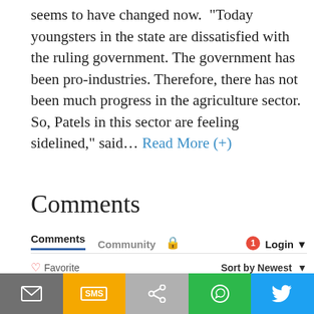seems to have changed now. “Today youngsters in the state are dissatisfied with the ruling government. The government has been pro-industries. Therefore, there has not been much progress in the agriculture sector. So, Patels in this sector are feeling sidelined,” said… Read More (+)
Comments
[Figure (screenshot): Disqus comments interface with Comments tab active, Community tab, lock icon, notification badge (1), Login button with dropdown arrow, Favorite button with heart icon, Sort by Newest dropdown, Join the discussion text input, LOG IN WITH label, and social login icons for Disqus, Facebook, Twitter, Google]
[Figure (screenshot): Share bar at bottom with five colored segments: gray (email), orange (SMS), light gray (share), green (WhatsApp), blue (Twitter)]